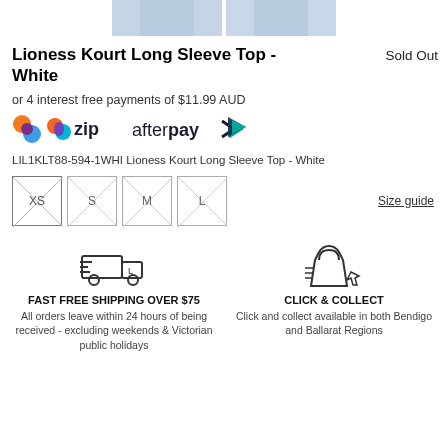[Figure (photo): Two product photos of clothing item (light blue/grey background thumbnails)]
Lioness Kourt Long Sleeve Top - White
Sold Out
or 4 interest free payments of $11.99 AUD
[Figure (logo): Zip and Afterpay payment logos]
LIL1KLT88-594-1WHI Lioness Kourt Long Sleeve Top - White
[Figure (other): Size selector buttons: XS, S, M, L with crossed-out box style]
Size guide
[Figure (infographic): Fast free shipping truck icon]
FAST FREE SHIPPING OVER $75
All orders leave within 24 hours of being received - excluding weekends & Victorian public holidays
[Figure (infographic): Click and collect shopping bag icon]
CLICK & COLLECT
Click and collect available in both Bendigo and Ballarat Regions